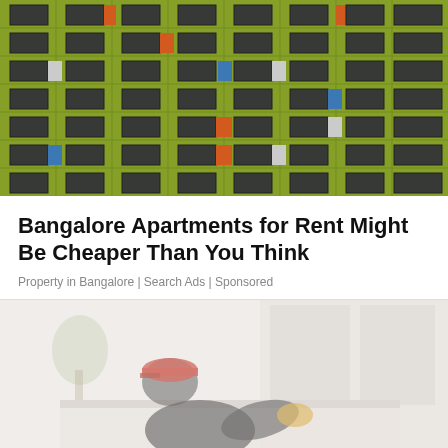[Figure (photo): Colorful modern apartment building facade with green tiled wall and colorful window shutters in orange, blue, and white]
Bangalore Apartments for Rent Might Be Cheaper Than You Think
Property in Bangalore | Search Ads | Sponsored
[Figure (photo): Worker wearing a red cap and black shirt cleaning or working on a white surface, faded/light image]